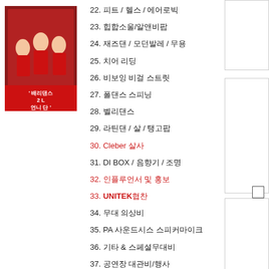[Figure (photo): Photo of K-pop girl group in red outfits with Korean text overlay reading '배리댄스 2 L 언니단']
22. 피트 / 헬스 / 에어로빅
23. 힙합소울/알앤비팝
24. 재즈댄 / 모던발레 / 무용
25. 치어 리딩
26. 비보잉 비걸 스트릿
27. 폴댄스 스피닝
28. 벨리댄스
29. 라틴댄 / 살 / 탱고팝
30. Cleber 살사
31. DI BOX / 음향기 / 조명
32. 인플루언서 및 홍보
33. UNITEK협찬
34. 무대 의상비
35. PA 사운드시스 스피커마이크
36. 기타 & 스페셜무대비
37. 공연장 대관비/행사
38. 유투 소셜미디 홍보마케팅
39. 인플루언서/행사/협